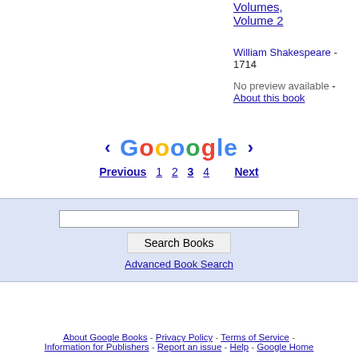Volumes, Volume 2
William Shakespeare - 1714
No preview available - About this book
[Figure (logo): Google pagination logo with previous and next arrows and page numbers 1, 2, 3, 4]
Previous  1  2  3  4  Next
Search Books input box and button
Advanced Book Search
About Google Books - Privacy Policy - Terms of Service - Information for Publishers - Report an issue - Help - Google Home